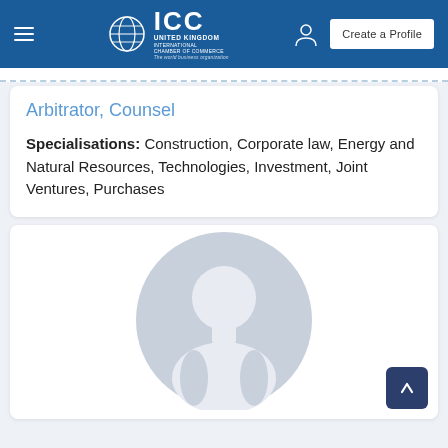ICC United Kingdom International Chamber of Commerce — The world business organization | Create a Profile
Arbitrator, Counsel
Specialisations: Construction, Corporate law, Energy and Natural Resources, Technologies, Investment, Joint Ventures, Purchases
[Figure (illustration): Generic user profile silhouette placeholder image — circular grey avatar with head and shoulders outline]